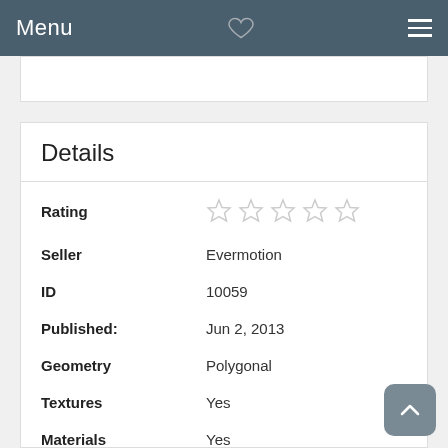Menu
Details
| Field | Value |
| --- | --- |
| Rating | ★★★★★ (empty) |
| Seller | Evermotion |
| ID | 10059 |
| Published: | Jun 2, 2013 |
| Geometry | Polygonal |
| Textures | Yes |
| Materials | Yes |
| Part of Bundle | Archmodels vol. 41 |